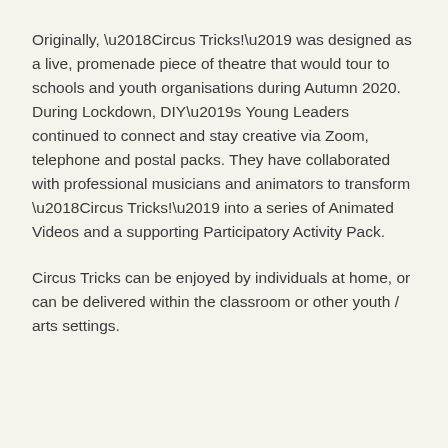Originally, ‘Circus Tricks!’ was designed as a live, promenade piece of theatre that would tour to schools and youth organisations during Autumn 2020. During Lockdown, DIY’s Young Leaders continued to connect and stay creative via Zoom, telephone and postal packs. They have collaborated with professional musicians and animators to transform ‘Circus Tricks!’ into a series of Animated Videos and a supporting Participatory Activity Pack.
Circus Tricks can be enjoyed by individuals at home, or can be delivered within the classroom or other youth / arts settings.